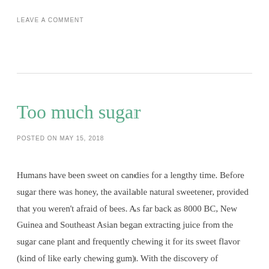LEAVE A COMMENT
Too much sugar
POSTED ON MAY 15, 2018
Humans have been sweet on candies for a lengthy time. Before sugar there was honey, the available natural sweetener, provided that you weren't afraid of bees. As far back as 8000 BC, New Guinea and Southeast Asian began extracting juice from the sugar cane plant and frequently chewing it for its sweet flavor (kind of like early chewing gum). With the discovery of granulation a couple thousand years later, it was readily transported and gradually introduced to Persia, India and finally